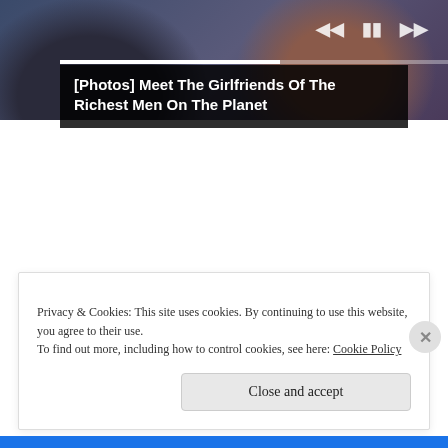[Figure (photo): Two people seated side by side, one in a dark suit, the other in a light patterned outfit, with media player controls overlaid. Caption overlay reads: [Photos] Meet The Girlfriends Of The Richest Men On The Planet]
[Photos] Meet The Girlfriends Of The Richest Men On The Planet
Privacy & Cookies: This site uses cookies. By continuing to use this website, you agree to their use.
To find out more, including how to control cookies, see here: Cookie Policy
Close and accept